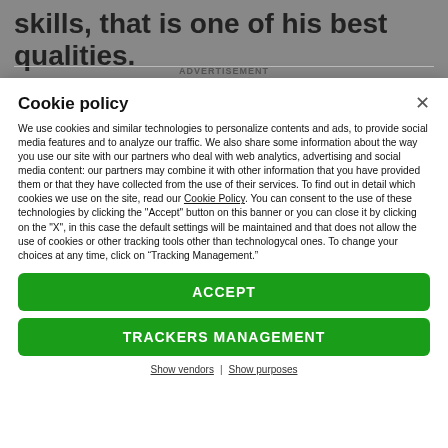skills, that is one of his best qualities.
ADVERTISEMENT
Cookie policy
We use cookies and similar technologies to personalize contents and ads, to provide social media features and to analyze our traffic. We also share some information about the way you use our site with our partners who deal with web analytics, advertising and social media content: our partners may combine it with other information that you have provided them or that they have collected from the use of their services. To find out in detail which cookies we use on the site, read our Cookie Policy. You can consent to the use of these technologies by clicking the "Accept" button on this banner or you can close it by clicking on the "X", in this case the default settings will be maintained and that does not allow the use of cookies or other tracking tools other than technologycal ones. To change your choices at any time, click on “Tracking Management.”
ACCEPT
TRACKERS MANAGEMENT
Show vendors | Show purposes